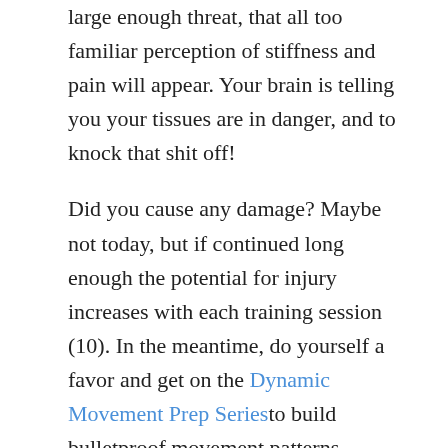large enough threat, that all too familiar perception of stiffness and pain will appear. Your brain is telling you your tissues are in danger, and to knock that shit off!
Did you cause any damage? Maybe not today, but if continued long enough the potential for injury increases with each training session (10). In the meantime, do yourself a favor and get on the Dynamic Movement Prep Series to build bulletproof movement patterns. Interestingly enough, MRI studies have failed to demonstrate a clear relationship between pathology observed on MRI and the athlete's pain.In fact, research shows that roughly 80% of us all show some form of nasty “damage” like disc herniations,